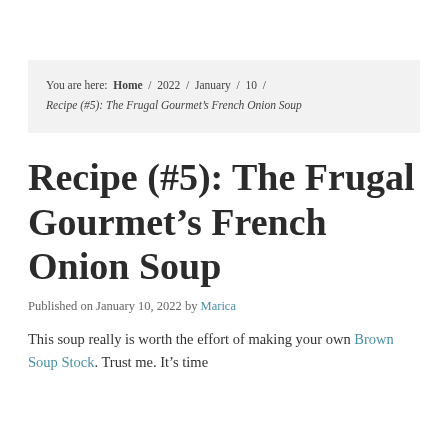You are here: Home / 2022 / January / 10 / Recipe (#5): The Frugal Gourmet’s French Onion Soup
Recipe (#5): The Frugal Gourmet’s French Onion Soup
Published on January 10, 2022 by Marica
This soup really is worth the effort of making your own Brown Soup Stock. Trust me. It’s time